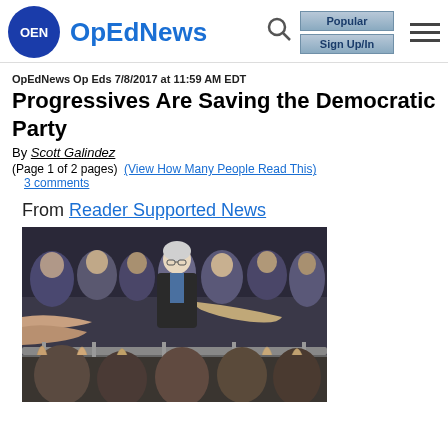OpEdNews
OpEdNews Op Eds 7/8/2017 at 11:59 AM EDT
Progressives Are Saving the Democratic Party
By Scott Galindez
(Page 1 of 2 pages)  (View How Many People Read This)
3 comments
From Reader Supported News
[Figure (photo): A man in a dark suit with white hair shaking hands with crowd members over a metal barricade at a political rally]